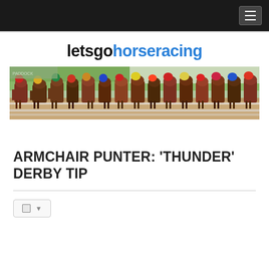letsgohorsEracing — navigation bar with hamburger menu
[Figure (logo): letsgohorseracing website logo with 'letsgo' in black bold text and 'horseracing' in blue bold text]
[Figure (photo): Photograph of a horse racing field with multiple jockeys in colorful silks racing closely together]
ARMCHAIR PUNTER: 'THUNDER' DERBY TIP
[Figure (other): Share/action button with a square icon and dropdown arrow]